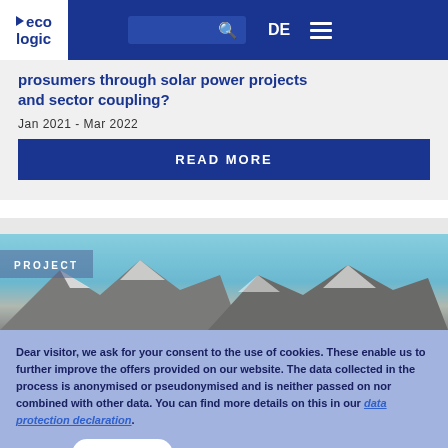eco logic | DE
prosumers through solar power projects and sector coupling?
Jan 2021 - Mar 2022
READ MORE
[Figure (photo): Mountain landscape with snow-capped peaks and blue sky, labeled PROJECT]
Dear visitor, we ask for your consent to the use of cookies. These enable us to further improve the offers provided on our website. The data collected in the process is anonymised or pseudonymised and is neither passed on nor combined with other data. You can find more details on this in our data protection declaration.
Accept
No, thanks